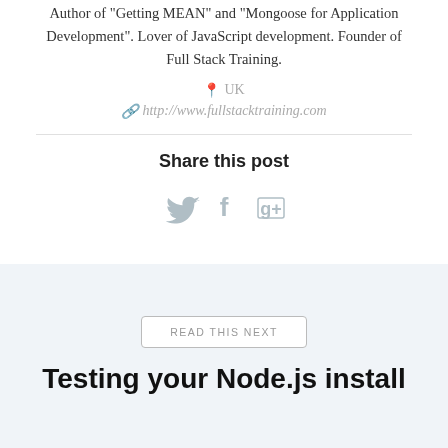Author of "Getting MEAN" and "Mongoose for Application Development". Lover of JavaScript development. Founder of Full Stack Training.
UK
http://www.fullstacktraining.com
Share this post
[Figure (other): Social media share icons: Twitter bird, Facebook f, Google+ g+ icon]
READ THIS NEXT
Testing your Node.js install